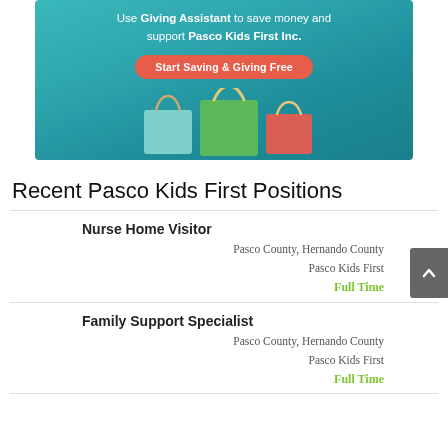[Figure (infographic): Giving Assistant promotional banner with teal background, shopping bags, and red 'Start Saving & Giving Free' button. Text reads: Use Giving Assistant to save money and support Pasco Kids First Inc.]
Recent Pasco Kids First Positions
Nurse Home Visitor
Pasco County, Hernando County
Pasco Kids First
Full Time
Family Support Specialist
Pasco County, Hernando County
Pasco Kids First
Full Time